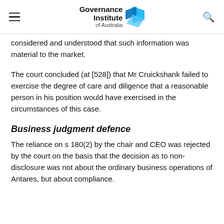Governance Institute of Australia
considered and understood that such information was material to the market.
The court concluded (at [528]) that Mr Cruickshank failed to exercise the degree of care and diligence that a reasonable person in his position would have exercised in the circumstances of this case.
Business judgment defence
The reliance on s 180(2) by the chair and CEO was rejected by the court on the basis that the decision as to non-disclosure was not about the ordinary business operations of Antares, but about compliance.